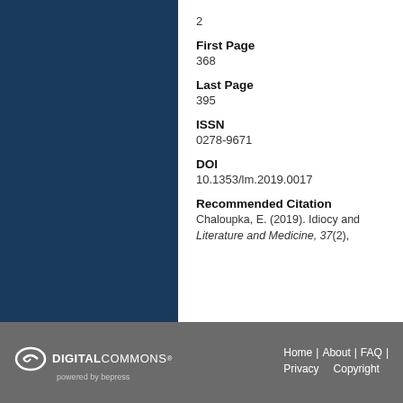2
First Page
368
Last Page
395
ISSN
0278-9671
DOI
10.1353/lm.2019.0017
Recommended Citation
Chaloupka, E. (2019). Idiocy and Literature and Medicine, 37(2),
Home | About | FAQ | Privacy Copyright — Digital Commons powered by bepress